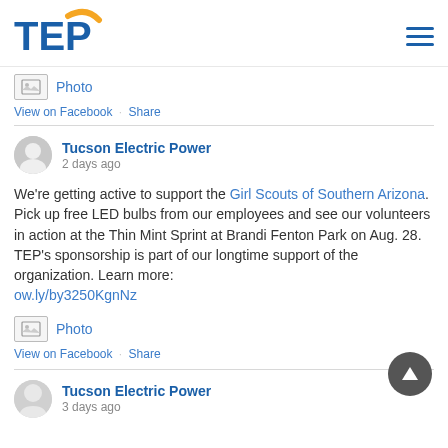TEP (Tucson Electric Power) logo and navigation menu
[Figure (illustration): Photo placeholder icon with image icon and text 'Photo']
View on Facebook · Share
[Figure (photo): Circular user avatar icon (gray silhouette)]
Tucson Electric Power
2 days ago
We're getting active to support the Girl Scouts of Southern Arizona. Pick up free LED bulbs from our employees and see our volunteers in action at the Thin Mint Sprint at Brandi Fenton Park on Aug. 28. TEP's sponsorship is part of our longtime support of the organization. Learn more: ow.ly/by3250KgnNz
[Figure (illustration): Photo placeholder icon with image icon and text 'Photo']
View on Facebook · Share
[Figure (illustration): Back to top arrow button (dark circular button with upward arrow)]
[Figure (photo): Circular user avatar icon (gray silhouette, bottom post)]
Tucson Electric Power
3 days ago